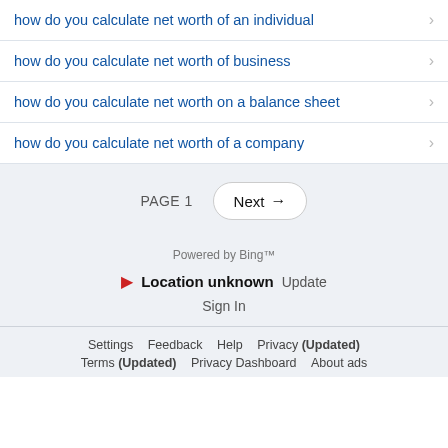how do you calculate net worth of an individual
how do you calculate net worth of business
how do you calculate net worth on a balance sheet
how do you calculate net worth of a company
PAGE 1   Next →
Powered by Bing™
Location unknown  Update
Sign In
Settings  Feedback  Help  Privacy (Updated)  Terms (Updated)  Privacy Dashboard  About ads